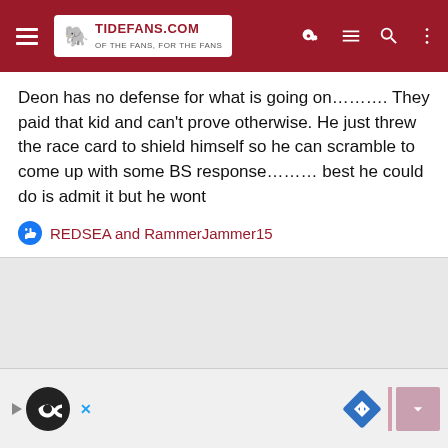TideFans.com
Deon has no defense for what is going on………. They paid that kid and can't prove otherwise. He just threw the race card to shield himself so he can scramble to come up with some BS response……… best he could do is admit it but he wont
REDSEA and RammerJammer15
[Figure (screenshot): Advertisement bar at bottom with play button, infinity loop icon in black circle, navigation direction sign icon, and pink download button]